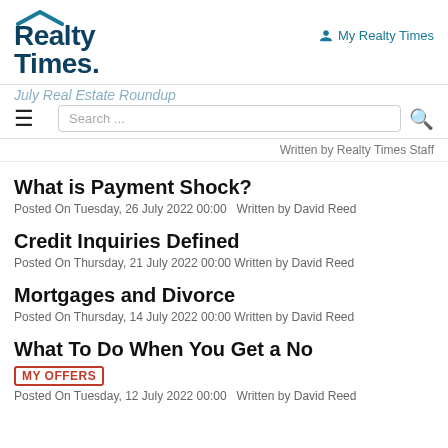Realty Times | My Realty Times
July Real Estate Roundup
Search ...
Written by Realty Times Staff
What is Payment Shock?
Posted On Tuesday, 26 July 2022 00:00   Written by David Reed
Credit Inquiries Defined
Posted On Thursday, 21 July 2022 00:00 Written by David Reed
Mortgages and Divorce
Posted On Thursday, 14 July 2022 00:00 Written by David Reed
What To Do When You Get a No
MY OFFERS
Posted On Tuesday, 12 July 2022 00:00   Written by David Reed